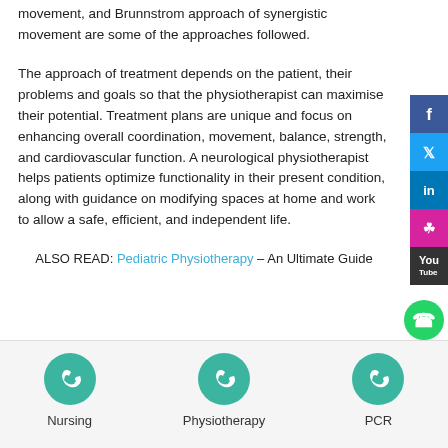movement, and Brunnstrom approach of synergistic movement are some of the approaches followed.
The approach of treatment depends on the patient, their problems and goals so that the physiotherapist can maximise their potential. Treatment plans are unique and focus on enhancing overall coordination, movement, balance, strength, and cardiovascular function. A neurological physiotherapist helps patients optimize functionality in their present condition, along with guidance on modifying spaces at home and work to allow a safe, efficient, and independent life.
ALSO READ: Pediatric Physiotherapy – An Ultimate Guide
[Figure (other): Social media sidebar with Facebook, Twitter, LinkedIn, Instagram, YouTube buttons]
[Figure (other): WhatsApp floating button]
[Figure (other): Footer navigation with three phone icon buttons: Nursing, Physiotherapy, PCR]